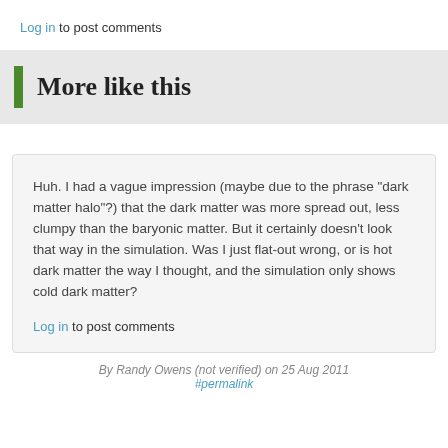Log in to post comments
More like this
Huh. I had a vague impression (maybe due to the phrase "dark matter halo"?) that the dark matter was more spread out, less clumpy than the baryonic matter. But it certainly doesn't look that way in the simulation. Was I just flat-out wrong, or is hot dark matter the way I thought, and the simulation only shows cold dark matter?
Log in to post comments
By Randy Owens (not verified) on 25 Aug 2011